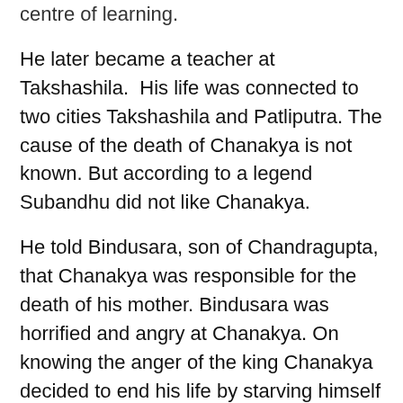centre of learning.
He later became a teacher at Takshashila.  His life was connected to two cities Takshashila and Patliputra. The cause of the death of Chanakya is not known. But according to a legend Subandhu did not like Chanakya.
He told Bindusara, son of Chandragupta, that Chanakya was responsible for the death of his mother. Bindusara was horrified and angry at Chanakya. On knowing the anger of the king Chanakya decided to end his life by starving himself to death.
Later when the king came to know that the death of his mother was due to an accident he asked Subandhu to convince Chanakya not to execute the plan of killing himself. Subandhu pretending to conduct a ceremony